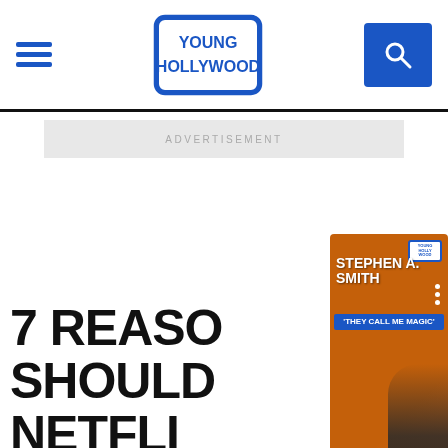Young Hollywood
ADVERTISEMENT
7 REASONS YOU SHOULD WATCH NETFLIX
02-15-
[Figure (photo): Stephen A. Smith promotional banner for Apple TV 'They Call Me Magic' with basketball and LA Lakers imagery, overlaid on Young Hollywood website]
Friends & TeammatesCelebrate AppleTV's MagicJohnson D...
[Figure (photo): Dark moody photo of a woman with curly reddish-brown hair, partially visible at bottom of page]